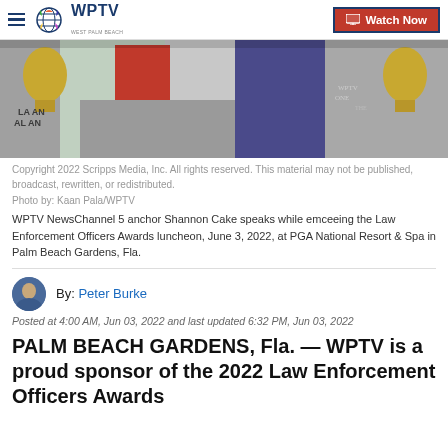WPTV West Palm Beach — Watch Now
[Figure (photo): WPTV NewsChannel 5 anchor Shannon Cake speaks at a podium at an awards luncheon, wearing a red outfit; golden trophy awards visible in background]
Copyright 2022 Scripps Media, Inc. All rights reserved. This material may not be published, broadcast, rewritten, or redistributed.
Photo by: Kaan Pala/WPTV
WPTV NewsChannel 5 anchor Shannon Cake speaks while emceeing the Law Enforcement Officers Awards luncheon, June 3, 2022, at PGA National Resort & Spa in Palm Beach Gardens, Fla.
By: Peter Burke
Posted at 4:00 AM, Jun 03, 2022 and last updated 6:32 PM, Jun 03, 2022
PALM BEACH GARDENS, Fla. — WPTV is a proud sponsor of the 2022 Law Enforcement Officers Awards